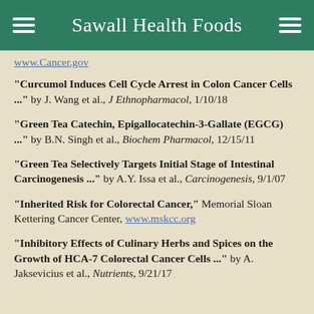Sawall Health Foods
www.Cancer.gov
"Curcumol Induces Cell Cycle Arrest in Colon Cancer Cells ..." by J. Wang et al., J Ethnopharmacol, 1/10/18
"Green Tea Catechin, Epigallocatechin-3-Gallate (EGCG) ..." by B.N. Singh et al., Biochem Pharmacol, 12/15/11
"Green Tea Selectively Targets Initial Stage of Intestinal Carcinogenesis ..." by A.Y. Issa et al., Carcinogenesis, 9/1/07
"Inherited Risk for Colorectal Cancer," Memorial Sloan Kettering Cancer Center, www.mskcc.org
"Inhibitory Effects of Culinary Herbs and Spices on the Growth of HCA-7 Colorectal Cancer Cells ..." by A. Jaksevicius et al., Nutrients, 9/21/17